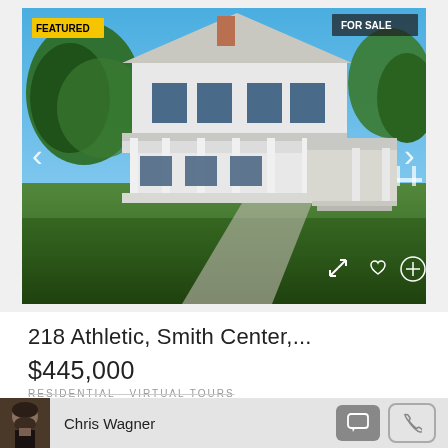[Figure (photo): Exterior photo of a large white farmhouse/colonial home with a covered front porch with white columns, two-story structure with dark windows, set on a green lawn with trees, blue sky. Badges: FEATURED (yellow, top left), FOR SALE (dark, top right). Navigation arrows on sides. Icons at bottom right (expand, heart, plus).]
218 Athletic, Smith Center,...
$445,000
RESIDENTIAL  VIRTUAL TOURS
[Figure (photo): Headshot of Chris Wagner, a man with dark beard and hair wearing a dark shirt.]
Chris Wagner